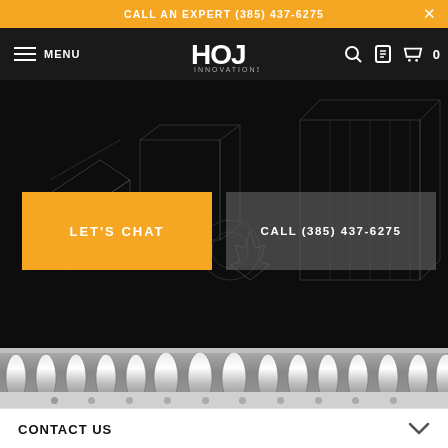CALL AN EXPERT (385) 437-6275
[Figure (logo): HOJ Innovations logo in white on dark nav bar]
[Figure (screenshot): Hero section with dark background showing isometric line-art of industrial shelving/conveyor equipment, with two CTA buttons: LET'S CHAT (orange) and CALL (385) 437-6275 (gray)]
[Figure (photo): Roller conveyor close-up photograph showing chrome/steel rollers with slider dots below]
CONTACT US